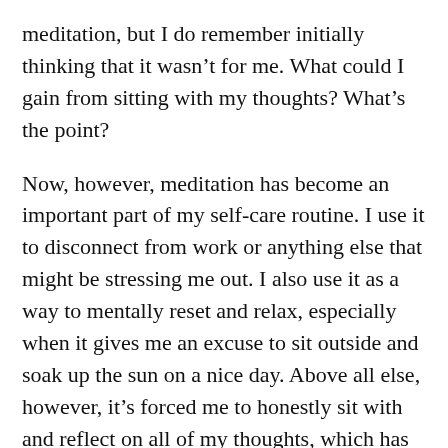meditation, but I do remember initially thinking that it wasn’t for me. What could I gain from sitting with my thoughts? What’s the point?
Now, however, meditation has become an important part of my self-care routine. I use it to disconnect from work or anything else that might be stressing me out. I also use it as a way to mentally reset and relax, especially when it gives me an excuse to sit outside and soak up the sun on a nice day. Above all else, however, it’s forced me to honestly sit with and reflect on all of my thoughts, which has been more helpful than I could’ve ever imagined.
Read more about my journey with meditation below!
Continue reading